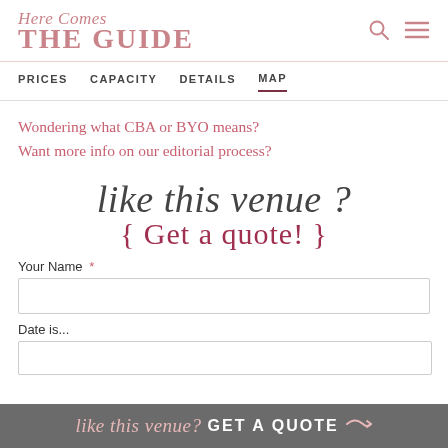Here Comes THE GUIDE
PRICES   CAPACITY   DETAILS   MAP
Wondering what CBA or BYO means?
Want more info on our editorial process?
like this venue? { Get a quote! }
Your Name *
Date is...
like this venue? GET A QUOTE